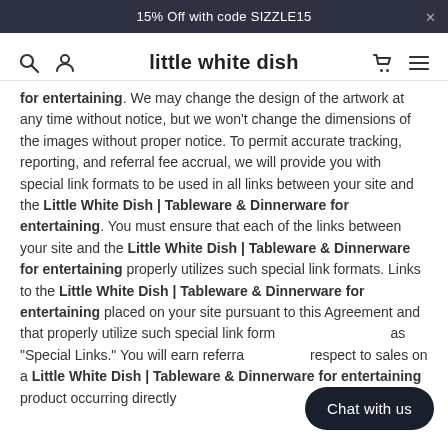15% Off with code SIZZLE15
little white dish
for entertaining. We may change the design of the artwork at any time without notice, but we won't change the dimensions of the images without proper notice. To permit accurate tracking, reporting, and referral fee accrual, we will provide you with special link formats to be used in all links between your site and the Little White Dish | Tableware & Dinnerware for entertaining. You must ensure that each of the links between your site and the Little White Dish | Tableware & Dinnerware for entertaining properly utilizes such special link formats. Links to the Little White Dish | Tableware & Dinnerware for entertaining placed on your site pursuant to this Agreement and that properly utilize such special link formats are referred to as "Special Links." You will earn referral fees with respect to sales on a Little White Dish | Tableware & Dinnerware for entertaining product occurring directly
[Figure (other): Chat with us button overlay]